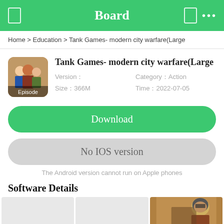Board
Home > Education > Tank Games- modern city warfare(Large
Tank Games- modern city warfare(Large
Version：
Size：366M
Category：Action
Time：2022-07-05
Download
No IOS version
The Android version cannot run on Apple phones
Software Details
[Figure (screenshot): Three screenshot thumbnails of the app, the rightmost showing a game character]